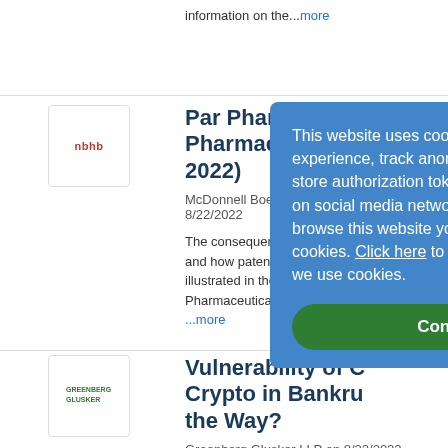information on the...more
[Figure (logo): NBHB red logo icon]
Par Pharmaceutical v. Eagle Pharmaceutical (2022)
McDonnell Boehnen Hulbert... 8/22/2022
The consequences of express claim limitations and how patentees can be held to them is illustrated in the Federal Circuit case of Par Pharmaceutical, Inc. v. Eagle...more
[Figure (logo): Greenberg Glusker green logo icon]
Vulnerability of Crypto in Bankruptcy the Way?
Greenberg Glusker LLP on 8/22/2022
The major cryptocurrencies have experienced significant
This website uses cookies to improve user experience, track anonymous site usage, store authorization tokens and permit sharing on social media networks. By continuing to browse this website you accept the use of cookies. Click here to read more about how we use cookies.
Continue